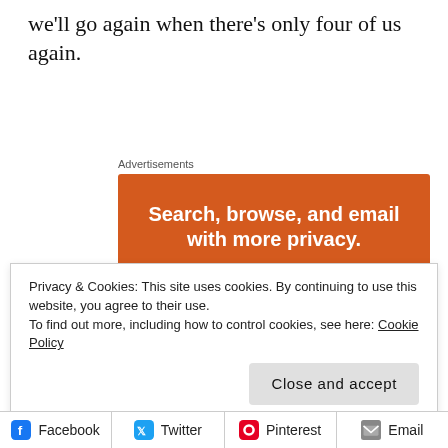we'll go again when there's only four of us again.
Advertisements
[Figure (illustration): DuckDuckGo advertisement: orange background with white bold text 'Search, browse, and email with more privacy.' and a white pill-shaped button with orange text 'All in One Free App'. Below is a dark smartphone showing the DuckDuckGo duck logo.]
Privacy & Cookies: This site uses cookies. By continuing to use this website, you agree to their use.
To find out more, including how to control cookies, see here: Cookie Policy
Close and accept
Facebook  Twitter  Pinterest  Email